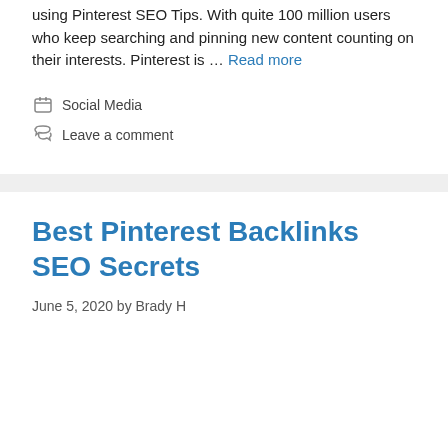using Pinterest SEO Tips. With quite 100 million users who keep searching and pinning new content counting on their interests. Pinterest is … Read more
Social Media
Leave a comment
Best Pinterest Backlinks SEO Secrets
June 5, 2020 by Brady H